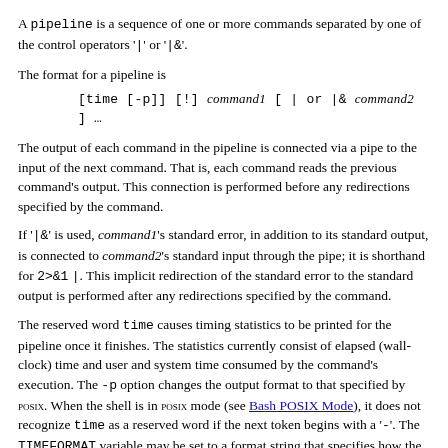A pipeline is a sequence of one or more commands separated by one of the control operators '|' or '|&'.
The format for a pipeline is
The output of each command in the pipeline is connected via a pipe to the input of the next command. That is, each command reads the previous command's output. This connection is performed before any redirections specified by the command.
If '|&' is used, command1's standard error, in addition to its standard output, is connected to command2's standard input through the pipe; it is shorthand for 2>&1 |. This implicit redirection of the standard error to the standard output is performed after any redirections specified by the command.
The reserved word time causes timing statistics to be printed for the pipeline once it finishes. The statistics currently consist of elapsed (wall-clock) time and user and system time consumed by the command's execution. The -p option changes the output format to that specified by POSIX. When the shell is in POSIX mode (see Bash POSIX Mode), it does not recognize time as a reserved word if the next token begins with a '-'. The TIMEFORMAT variable may be set to a format string that specifies how the timing information